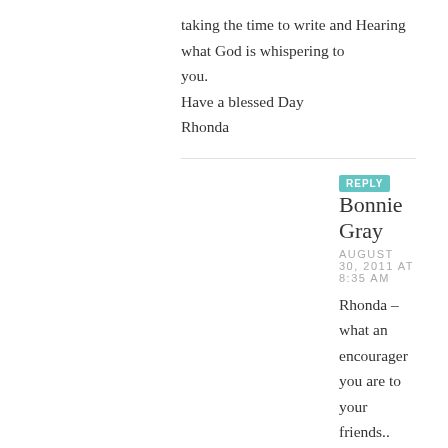taking the time to write and Hearing what God is whispering to you.
Have a blessed Day
Rhonda
REPLY Bonnie Gray
AUGUST 30, 2011 AT 8:35 AM
Rhonda – what an encourager you are to your friends.. and to me! Thank you for the grace!
REPLY Wanda
AUGUST 30, 2011 AT 4:43 AM
More and more God has been showing me that He can handle all that I am…even if I am